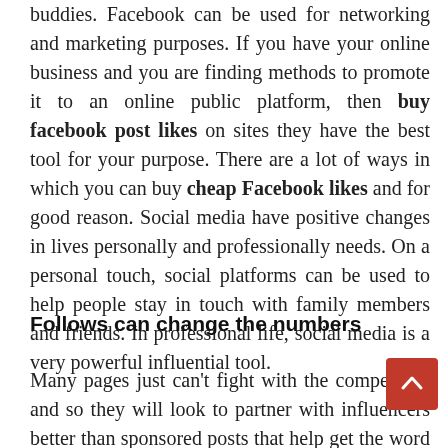buddies. Facebook can be used for networking and marketing purposes. If you have your online business and you are finding methods to promote it to an online public platform, then buy facebook post likes on sites they have the best tool for your purpose. There are a lot of ways in which you can buy cheap Facebook likes and for good reason. Social media have positive changes in lives personally and professionally needs. On a personal touch, social platforms can be used to help people stay in touch with family members and friends. In professional life, social media is a very powerful influential tool.
Follows can change the numbers
Many pages just can't fight with the competitors and so they will look to partner with influencers better than sponsored posts that help get the word out about their products. But it's not just the size and reach of your Facebook account that